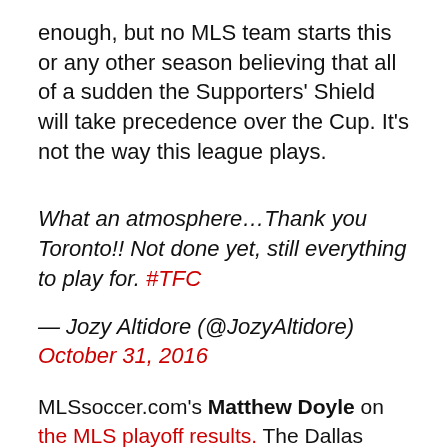enough, but no MLS team starts this or any other season believing that all of a sudden the Supporters' Shield will take precedence over the Cup. It's not the way this league plays.
What an atmosphere…Thank you Toronto!! Not done yet, still everything to play for. #TFC
— Jozy Altidore (@JozyAltidore) October 31, 2016
MLSsoccer.com's Matthew Doyle on the MLS playoff results. The Dallas Morning News' Jim Hoehn on what FC Dallas faces